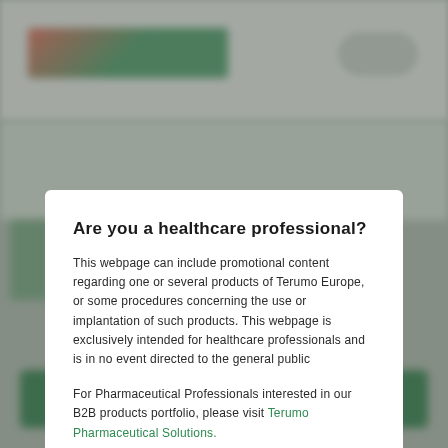[Figure (screenshot): Blurred background showing a Terumo Europe website header with logo, navigation icons, and a blurred green CTA button at the bottom. A semi-transparent overlay covers the background.]
Are you a healthcare professional?
This webpage can include promotional content regarding one or several products of Terumo Europe, or some procedures concerning the use or implantation of such products. This webpage is exclusively intended for healthcare professionals and is in no event directed to the general public
For Pharmaceutical Professionals interested in our B2B products portfolio, please visit Terumo Pharmaceutical Solutions.
No
Yes